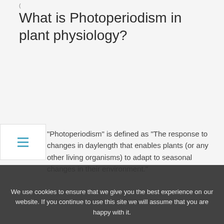What is Photoperiodism in plant physiology?
“Photoperiodism” is defined as “The response to changes in daylength that enables plants (or any other living organisms) to adapt to seasonal changes in their environment.”
Is Apple a Polycarpic?
Polycarpic plants do not die after flowering and fruiting. 4. Examples: Apple, Mango, Grape wine, Orange, etc
We use cookies to ensure that we give you the best experience on our website. If you continue to use this site we will assume that you are happy with it.
Polycarpic plants produce and set seeds many times before they die. A stem of Wisteria, a woody plant, is shown in figure 2.